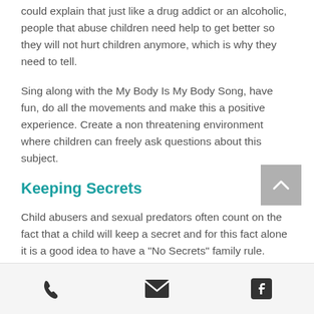could explain that just like a drug addict or an alcoholic, people that abuse children need help to get better so they will not hurt children anymore, which is why they need to tell.
Sing along with the My Body Is My Body Song, have fun, do all the movements and make this a positive experience. Create a non threatening environment where children can freely ask questions about this subject.
Keeping Secrets
Child abusers and sexual predators often count on the fact that a child will keep a secret and for this fact alone it is a good idea to have a "No Secrets" family rule. Instilling this into your children from a young age regarding day to day occurrences will make them feel more comfortable about not keeping unsafe secrets if someone is hurting them or
phone | email | facebook